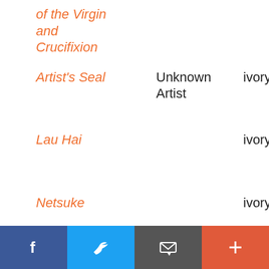of the Virgin and Crucifixion
Artist's Seal | Unknown Artist | ivory | 1644 - 1911
Lau Hai | | ivory | 1644 - 1911
Netsuke | | ivory | probably 19th century
Seated Figure | | ivory | probably 19th century
Standing | | ivory | probably
Facebook | Twitter | Email | More